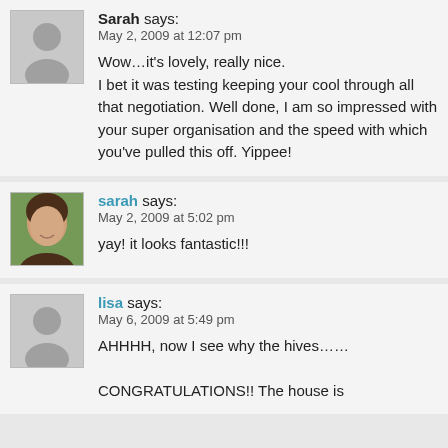Sarah says:
May 2, 2009 at 12:07 pm

Wow…it's lovely, really nice. I bet it was testing keeping your cool through all that negotiation. Well done, I am so impressed with your super organisation and the speed with which you've pulled this off. Yippee!
sarah says:
May 2, 2009 at 5:02 pm

yay! it looks fantastic!!!
lisa says:
May 6, 2009 at 5:49 pm

AHHHH, now I see why the hives……

CONGRATULATIONS!! The house is